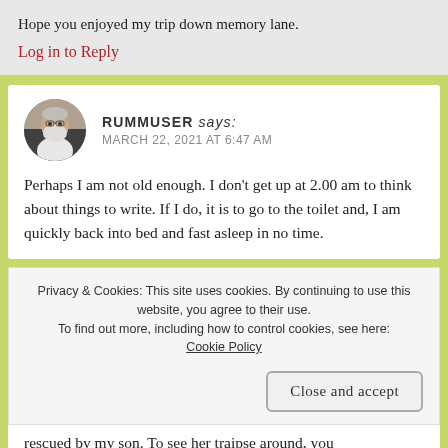Hope you enjoyed my trip down memory lane.
Log in to Reply
RUMMUSER says:
MARCH 22, 2021 AT 6:47 AM
Perhaps I am not old enough. I don’t get up at 2.00 am to think about things to write. If I do, it is to go to the toilet and, I am quickly back into bed and fast asleep in no time.
Privacy & Cookies: This site uses cookies. By continuing to use this website, you agree to their use.
To find out more, including how to control cookies, see here: Cookie Policy
Close and accept
rescued by my son. To see her traipse around, you